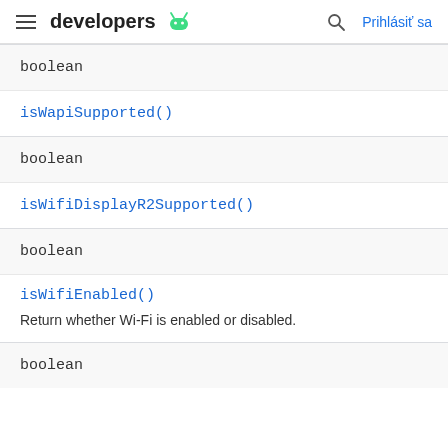developers [android logo] | [search] Prihlásiť sa
boolean
isWapiSupported()
boolean
isWifiDisplayR2Supported()
boolean
isWifiEnabled()
Return whether Wi-Fi is enabled or disabled.
boolean